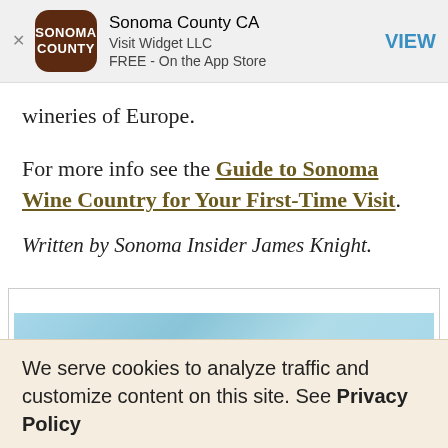[Figure (screenshot): App store banner for Sonoma County CA app by Visit Widget LLC, free on the App Store, with brown rounded square icon showing SONOMA COUNTY text, and a VIEW button in blue]
wineries of Europe.
For more info see the Guide to Sonoma Wine Country for Your First-Time Visit
Written by Sonoma Insider James Knight.
[Figure (photo): Partial advertisement image with light blue/sky colored banner]
We serve cookies to analyze traffic and customize content on this site. See Privacy Policy